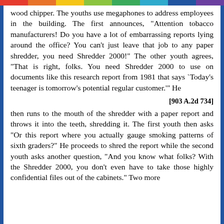wood chipper. The youths use megaphones to address employees in the building. The first announces, "Attention tobacco manufacturers! Do you have a lot of embarrassing reports lying around the office? You can't just leave that job to any paper shredder, you need Shredder 2000!" The other youth agrees, "That is right, folks. You need Shredder 2000 to use on documents like this research report from 1981 that says `Today's teenager is tomorrow's potential regular customer.'" He
[903 A.2d 734]
then runs to the mouth of the shredder with a paper report and throws it into the teeth, shredding it. The first youth then asks "Or this report where you actually gauge smoking patterns of sixth graders?" He proceeds to shred the report while the second youth asks another question, "And you know what folks? With the Shredder 2000, you don't even have to take those highly confidential files out of the cabinets." Two more